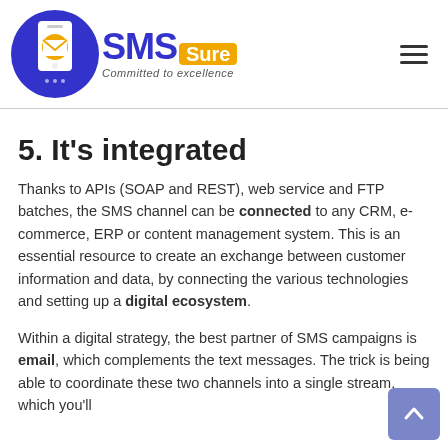SMSSure — Committed to excellence
5. It's integrated
Thanks to APIs (SOAP and REST), web service and FTP batches, the SMS channel can be connected to any CRM, e-commerce, ERP or content management system. This is an essential resource to create an exchange between customer information and data, by connecting the various technologies and setting up a digital ecosystem.
Within a digital strategy, the best partner of SMS campaigns is email, which complements the text messages. The trick is being able to coordinate these two channels into a single stream, which you'll